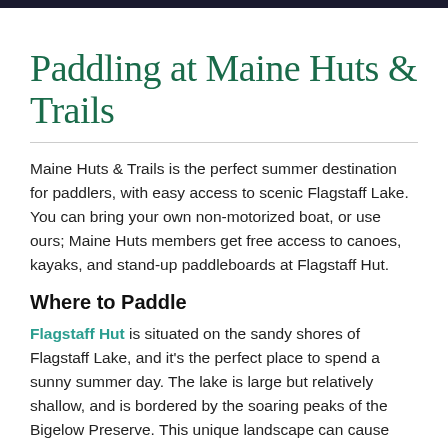Paddling at Maine Huts & Trails
Maine Huts & Trails is the perfect summer destination for paddlers, with easy access to scenic Flagstaff Lake. You can bring your own non-motorized boat, or use ours; Maine Huts members get free access to canoes, kayaks, and stand-up paddleboards at Flagstaff Hut.
Where to Paddle
Flagstaff Hut is situated on the sandy shores of Flagstaff Lake, and it's the perfect place to spend a sunny summer day. The lake is large but relatively shallow, and is bordered by the soaring peaks of the Bigelow Preserve. This unique landscape can cause unexpected strong winds across the